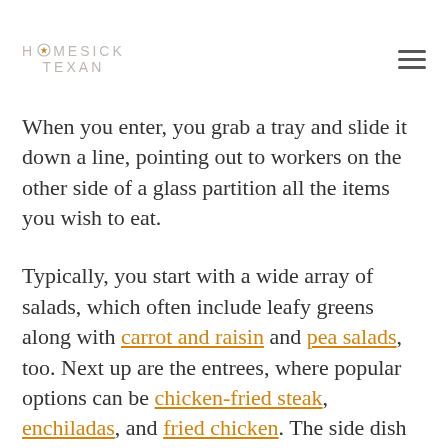HOMESICK TEXAN
When you enter, you grab a tray and slide it down a line, pointing out to workers on the other side of a glass partition all the items you wish to eat.
Typically, you start with a wide array of salads, which often include leafy greens along with carrot and raisin and pea salads, too. Next up are the entrees, where popular options can be chicken-fried steak, enchiladas, and fried chicken. The side dish